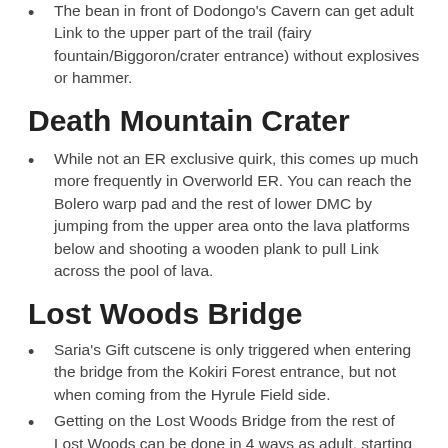The bean in front of Dodongo's Cavern can get adult Link to the upper part of the trail (fairy fountain/Biggoron/crater entrance) without explosives or hammer.
Death Mountain Crater
While not an ER exclusive quirk, this comes up much more frequently in Overworld ER. You can reach the Bolero warp pad and the rest of lower DMC by jumping from the upper area onto the lava platforms below and shooting a wooden plank to pull Link across the pool of lava.
Lost Woods Bridge
Saria's Gift cutscene is only triggered when entering the bridge from the Kokiri Forest entrance, but not when coming from the Hyrule Field side.
Getting on the Lost Woods Bridge from the rest of Lost Woods can be done in 4 ways as adult, starting from the bean patch area:
Use the longshot on the far side of the bridge .
Use the bean planted earlier in the trunk.